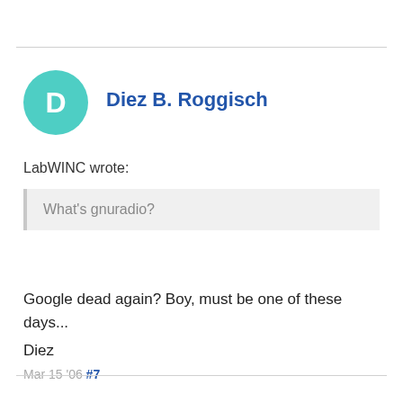Diez B. Roggisch
LabWINC wrote:
What's gnuradio?
Google dead again? Boy, must be one of these days...
Diez
Mar 15 '06 #7